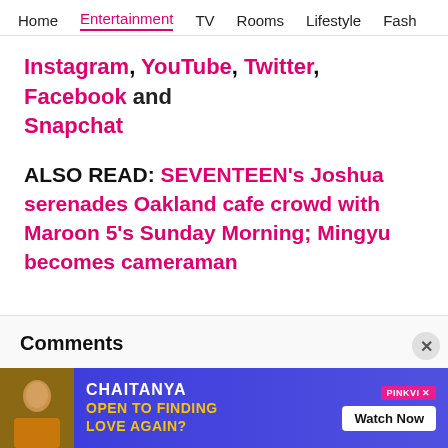Home | Entertainment | TV | Rooms | Lifestyle | Fash
Instagram, YouTube, Twitter, Facebook and Snapchat
ALSO READ: SEVENTEEN's Joshua serenades Oakland cafe crowd with Maroon 5's Sunday Morning; Mingyu becomes cameraman
Comments
Add a comment
[Figure (screenshot): Advertisement banner: CHAI TANYA - OPEN TO FINDING LOVE AGAIN? Watch Now button, PinkVilla branding]